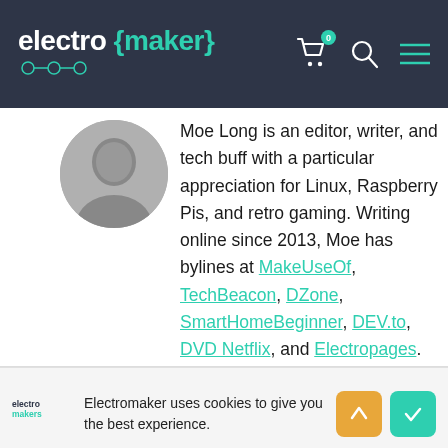electro{maker}
[Figure (photo): Circular avatar/profile photo of Moe Long, partially visible, black and white or dark toned.]
Moe Long is an editor, writer, and tech buff with a particular appreciation for Linux, Raspberry Pis, and retro gaming. Writing online since 2013, Moe has bylines at MakeUseOf, TechBeacon, DZone, SmartHomeBeginner, DEV.to, DVD Netflix, and Electropages. You can read his writings on film and pop culture at Cup of Moe, check out his tech reviews, guides, and tutorials at Tech Up Your Life, and keep
Electromaker uses cookies to give you the best experience.